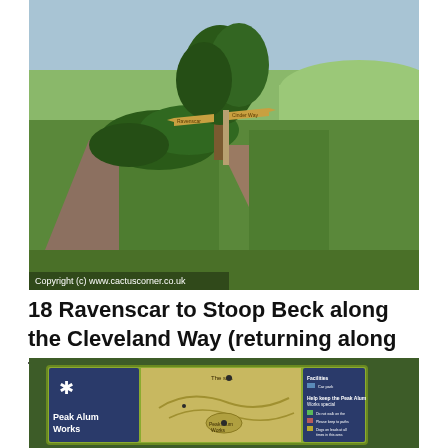[Figure (photo): A countryside path junction with a wooden signpost bearing yellow direction signs. Green grass, hedgerow and trees visible. Open green fields in background under overcast sky. A paved path on the left and dirt track on the right. Caption reads 'Copyright (c) www.cactuscorner.co.uk']
18 Ravenscar to Stoop Beck along the Cleveland Way (returning along the Cinder Track)
[Figure (photo): A National Trust information board for Peak Alum Works, showing a map/diagram of the site on a yellow-green background with a dark blue legend panel on the right side. The board is set against a backdrop of green vegetation.]